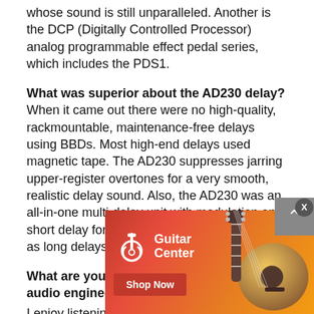whose sound is still unparalleled. Another is the DCP (Digitally Controlled Processor) analog programmable effect pedal series, which includes the PDS1.
What was superior about the AD230 delay? When it came out there were no high-quality, rackmountable, maintenance-free delays using BBDs. Most high-end delays used magnetic tape. The AD230 suppresses jarring upper-register overtones for a very smooth, realistic delay sound. Also, the AD230 was an all-in-one multi-delay unit with modulation and short delay for flanging and chorusing, as well as long delays.
What are your favorite pastimes outside of audio engineering?
I enjoy listening to jazz and going to jazz concerts. I do system... I enjoy r... also enjoy s...
[Figure (advertisement): Guitar Center advertisement banner with red-orange gradient background, Guitar Center logo with white guitar icon and text on left, acoustic guitar image on right, and red Shop Now button]